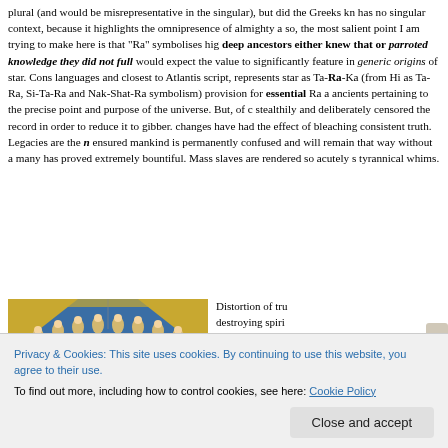plural (and would be misrepresentative in the singular), but did the Greeks kn has no singular context, because it highlights the omnipresence of almighty a so, the most salient point I am trying to make here is that "Ra" symbolises hig deep ancestors either knew that or parroted knowledge they did not full would expect the value to significantly feature in generic origins of star. Cons languages and closest to Atlantis script, represents star as Ta-Ra-Ka (from Hi as Ta-Ra, Si-Ta-Ra and Nak-Shat-Ra symbolism) provision for essential Ra a ancients pertaining to the precise point and purpose of the universe. But, of c stealthily and deliberately censored the record in order to reduce it to gibber. changes have had the effect of bleaching consistent truth. Legacies are the n ensured mankind is permanently confused and will remain that way without a many has proved extremely bountiful. Mass slaves are rendered so acutely s tyrannical whims.
[Figure (illustration): A mosaic image showing angelic or heavenly figures arranged in an arc against a blue background, with decorative gold border at the top.]
Distortion of tru destroying spiri only be achiev ic sta m
Privacy & Cookies: This site uses cookies. By continuing to use this website, you agree to their use. To find out more, including how to control cookies, see here: Cookie Policy
Close and accept